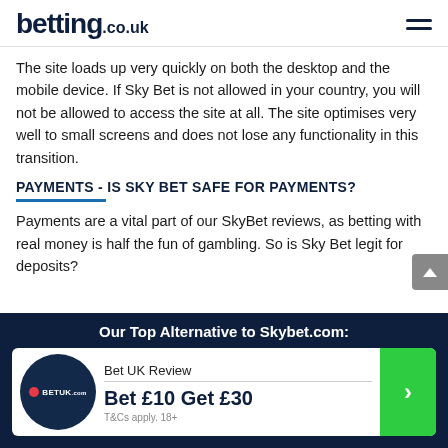betting.co.uk
The site loads up very quickly on both the desktop and the mobile device. If Sky Bet is not allowed in your country, you will not be allowed to access the site at all. The site optimises very well to small screens and does not lose any functionality in this transition.
PAYMENTS - IS SKY BET SAFE FOR PAYMENTS?
Payments are a vital part of our SkyBet reviews, as betting with real money is half the fun of gambling. So is Sky Bet legit for deposits?
Our Top Alternative to Skybet.com:
Bet UK Review
Bet £10 Get £30
T&Cs apply. 18+